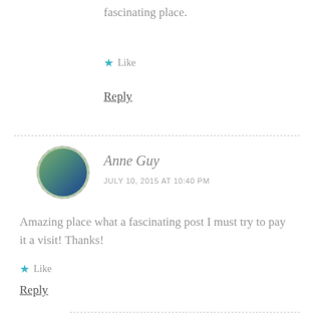fascinating place.
Like
Reply
Anne Guy
JULY 10, 2015 AT 10:40 PM
Amazing place what a fascinating post I must try to pay it a visit! Thanks!
Like
Reply